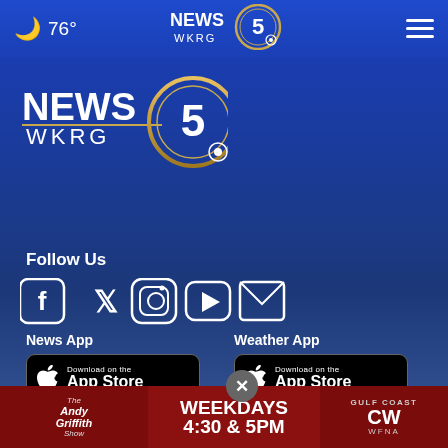🌙 76° | NEWS 5 WKRG | ☰
[Figure (logo): WKRG News 5 CBS logo, large, white and gold on blue background]
Follow Us
[Figure (infographic): Social media icons: Facebook, Twitter, Instagram, YouTube, Email]
News App
Weather App
[Figure (screenshot): Download on the App Store button (black, for News App)]
[Figure (screenshot): Download on the App Store button (black, for Weather App)]
[Figure (screenshot): GET IT ON Google Play button (partial, News App)]
[Figure (screenshot): GET IT ON Google Play button (partial, Weather App)]
[Figure (infographic): Ad banner: Andy Griffith Show - WEEKDAYS 4:30 & 5PM on Gulf Coast CW WFNA]